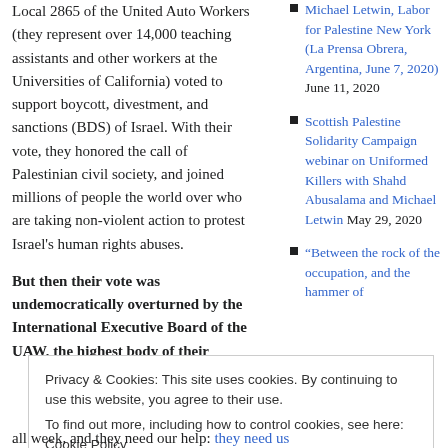Local 2865 of the United Auto Workers (they represent over 14,000 teaching assistants and other workers at the Universities of California) voted to support boycott, divestment, and sanctions (BDS) of Israel. With their vote, they honored the call of Palestinian civil society, and joined millions of people the world over who are taking non-violent action to protest Israel's human rights abuses.
But then their vote was undemocratically overturned by the International Executive Board of the UAW, the highest body of their
Michael Letwin, Labor for Palestine New York (La Prensa Obrera, Argentina, June 7, 2020) June 11, 2020
Scottish Palestine Solidarity Campaign webinar on Uniformed Killers with Shahd Abusalama and Michael Letwin May 29, 2020
“Between the rock of the occupation, and the hammer of
Privacy & Cookies: This site uses cookies. By continuing to use this website, you agree to their use.
To find out more, including how to control cookies, see here: Cookie Policy
Close and accept
all week, and they need our help: they need us